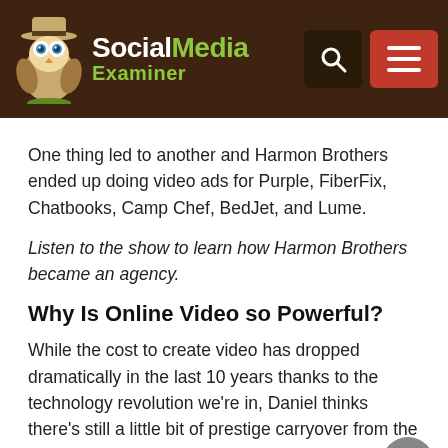[Figure (logo): Social Media Examiner logo with owl mascot on brown background, search and menu buttons]
One thing led to another and Harmon Brothers ended up doing video ads for Purple, FiberFix, Chatbooks, Camp Chef, BedJet, and Lume.
Listen to the show to learn how Harmon Brothers became an agency.
Why Is Online Video so Powerful?
While the cost to create video has dropped dramatically in the last 10 years thanks to the technology revolution we're in, Daniel thinks there's still a little bit of prestige carryover from the old media days when video was almost an untouchable